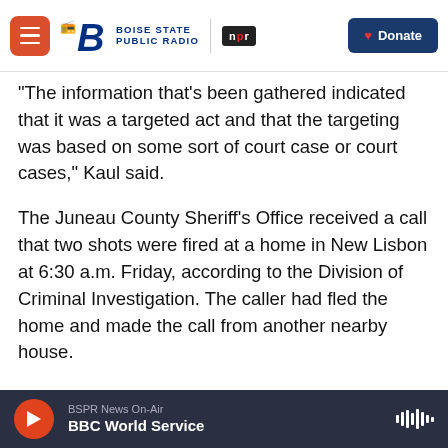Boise State Public Radio | NPR | Donate
"The information that's been gathered indicated that it was a targeted act and that the targeting was based on some sort of court case or court cases," Kaul said.
The Juneau County Sheriff's Office received a call that two shots were fired at a home in New Lisbon at 6:30 a.m. Friday, according to the Division of Criminal Investigation. The caller had fled the home and made the call from another nearby house.
Donna Voss, a neighbor, told The Associated Press she heard law enforcement on a loudspeaker
BSPR News On-Air | BBC World Service